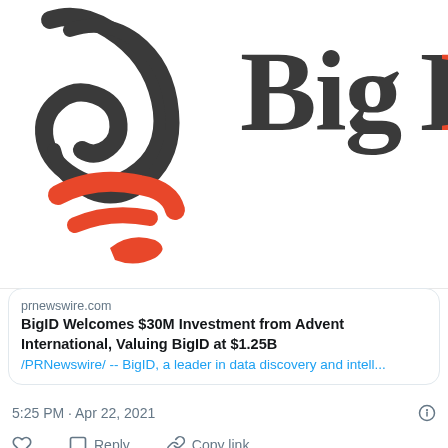[Figure (screenshot): Screenshot of a Twitter/social media page showing BigID and another company logo at top, a PR Newswire link card about BigID Welcomes $30M Investment from Advent International Valuing BigID at $1.25B, timestamp 5:25 PM Apr 22 2021, action icons, Explore what's happening on Twitter button, and a second tweet from Matt Aslett's The Data Day @thedataday about Data quality engineering platform company]
prnewswire.com
BigID Welcomes $30M Investment from Advent International, Valuing BigID at $1.25B
/PRNewswire/ -- BigID, a leader in data discovery and intell...
5:25 PM · Apr 22, 2021
Reply
Copy link
Explore what's happening on Twitter
Matt Aslett's The Data Day
@thedataday · Follow
Data quality engineering platform company